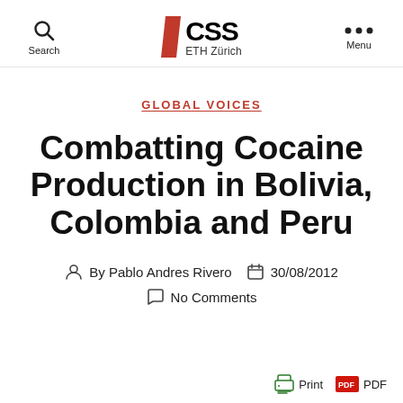CSS ETH Zürich — Search / Menu
GLOBAL VOICES
Combatting Cocaine Production in Bolivia, Colombia and Peru
By Pablo Andres Rivero   30/08/2012   No Comments